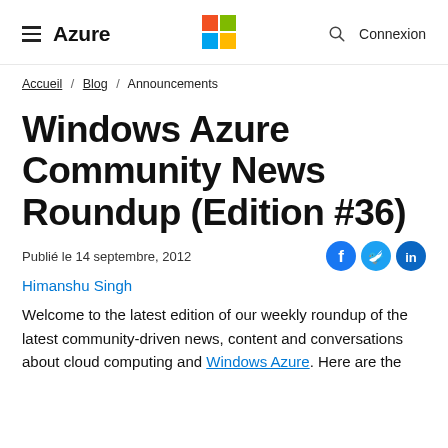≡ Azure | Microsoft logo | 🔍 Connexion
Accueil / Blog / Announcements
Windows Azure Community News Roundup (Edition #36)
Publié le 14 septembre, 2012
Himanshu Singh
Welcome to the latest edition of our weekly roundup of the latest community-driven news, content and conversations about cloud computing and Windows Azure. Here are the